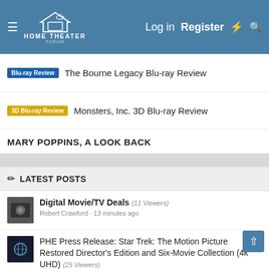Home Theater Forum — Log in | Register
Blu-ray Review — The Bourne Legacy Blu-ray Review
3D Blu-ray Review — Monsters, Inc. 3D Blu-ray Review
MARY POPPINS, A LOOK BACK
LATEST POSTS
Digital Movie/TV Deals (11 Viewers)
Robert Crawford · 13 minutes ago
PHE Press Release: Star Trek: The Motion Picture Restored Director's Edition and Six-Movie Collection (4k UHD) (25 Viewers)
Alex.C · 19 minutes ago
National Cinema Day September 3, 2022 All Movies All Formats $3.00 (16 Viewers)
Jake Lipson · 46 minutes ago